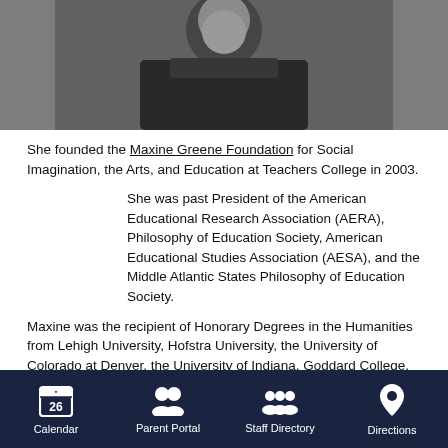[Figure (photo): Black and white portrait photo of a person dressed in dark clothing]
She founded the Maxine Greene Foundation for Social Imagination, the Arts, and Education at Teachers College in 2003.
She was past President of the American Educational Research Association (AERA), Philosophy of Education Society, American Educational Studies Association (AESA), and the Middle Atlantic States Philosophy of Education Society.
Maxine was the recipient of Honorary Degrees in the Humanities from Lehigh University, Hofstra University, the University of Colorado at Denver, the University of Indiana, Goddard College, Bank Street College, Nazareth College, McGill University, College Misericordia and Binghamton University.
Calendar  Parent Portal  Staff Directory  Directions